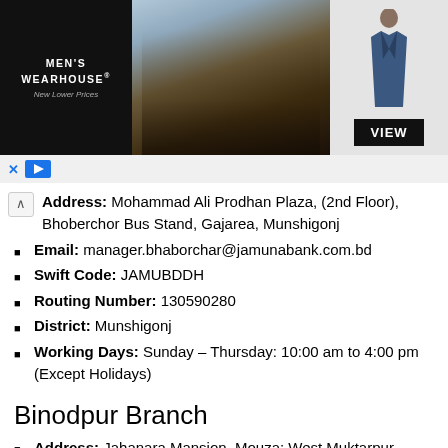[Figure (screenshot): Men's Wearhouse advertisement banner showing a couple in formal wear and a man in a blue suit, with a VIEW button]
Address: Mohammad Ali Prodhan Plaza, (2nd Floor), Bhoberchor Bus Stand, Gajarea, Munshigonj
Email: manager.bhaborchar@jamunabank.com.bd
Swift Code: JAMUBDDH
Routing Number: 130590280
District: Munshigonj
Working Days: Sunday – Thursday: 10:00 am to 4:00 pm (Except Holidays)
Binodpur Branch
Address: Jahanara Mansion, Mouza: West Muktarpur, Ward no 05, Union: Ponchoshar, Upozilla: